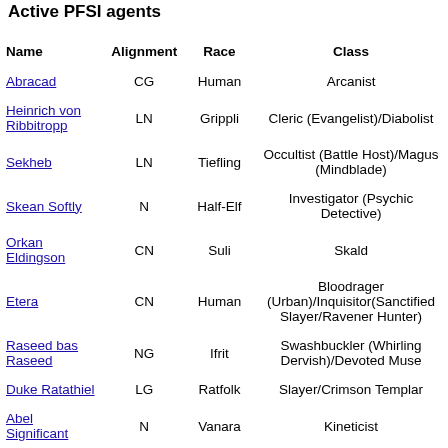Active PFSI agents
| Name | Alignment | Race | Class |
| --- | --- | --- | --- |
| Abracad | CG | Human | Arcanist |
| Heinrich von Ribbitropp | LN | Grippli | Cleric (Evangelist)/Diabolist |
| Sekheb | LN | Tiefling | Occultist (Battle Host)/Magus (Mindblade) |
| Skean Softly | N | Half-Elf | Investigator (Psychic Detective) |
| Orkan Eldingson | CN | Suli | Skald |
| Etera | CN | Human | Bloodrager (Urban)/Inquisitor(Sanctified Slayer/Ravener Hunter) |
| Raseed bas Raseed | NG | Ifrit | Swashbuckler (Whirling Dervish)/Devoted Muse |
| Duke Ratathiel | LG | Ratfolk | Slayer/Crimson Templar |
| Abel Significant | N | Vanara | Kineticist |